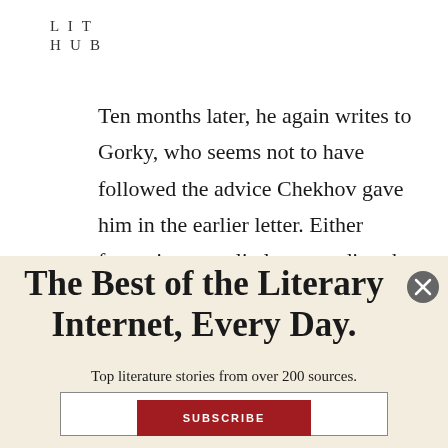LIT HUB
Ten months later, he again writes to Gorky, who seems not to have followed the advice Chekhov gave him in the earlier letter. Either forgetting or politely pretending that he is saying something entirely new,
The Best of the Literary Internet, Every Day.
Top literature stories from over 200 sources.
SUBSCRIBE